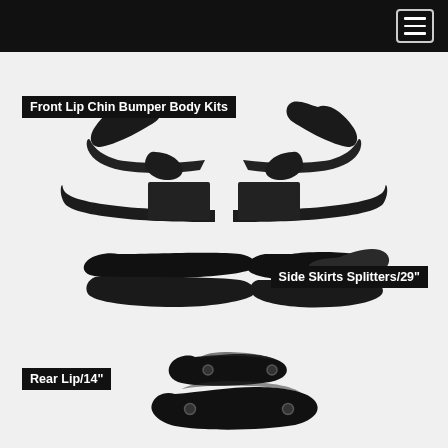Glossy Black
[Figure (photo): Product photo showing glossy black car body kit components: front lip chin bumper body kits (top pair of curved spoiler pieces and a lower curved bar), side skirts splitters 29 inch (two long flat side extensions), and rear lip 14 inch (two angular rear diffuser pieces). All parts are glossy black on a light gray/white background.]
Front Lip Chin Bumper Body Kits
Side Skirts Splitters/29"
Rear Lip/14"